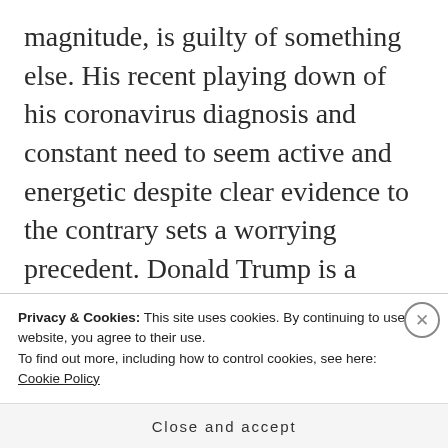magnitude, is guilty of something else. His recent playing down of his coronavirus diagnosis and constant need to seem active and energetic despite clear evidence to the contrary sets a worrying precedent. Donald Trump is a president who relies on his bombastic, bold image. Ultimately, he is also a 74-year-old man with one of the most stressful, demanding jobs on the planet. It is only a matter of time before that image far outstrips him, and when it does, it is almost
Privacy & Cookies: This site uses cookies. By continuing to use this website, you agree to their use.
To find out more, including how to control cookies, see here:
Cookie Policy
Close and accept